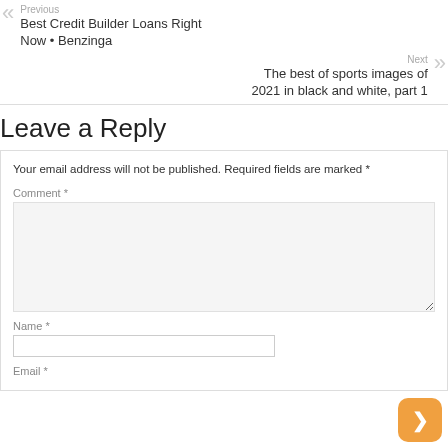Previous
Best Credit Builder Loans Right Now • Benzinga
Next
The best of sports images of 2021 in black and white, part 1
Leave a Reply
Your email address will not be published. Required fields are marked *
Comment *
Name *
Email *